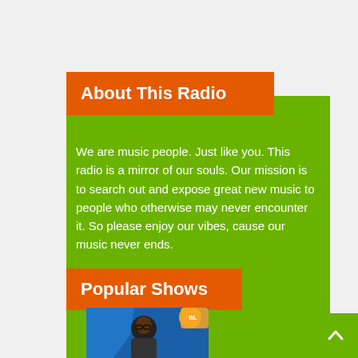About This Radio
We are music people. Just like you. This radio is a mirror of our souls. Our mission is to search out and expose great new music to people who otherwise may never encounter it. So please enjoy our vibes, cause our music never ends.
Popular Shows
[Figure (photo): A person wearing glasses in a radio/broadcast setting with blue and orange design elements]